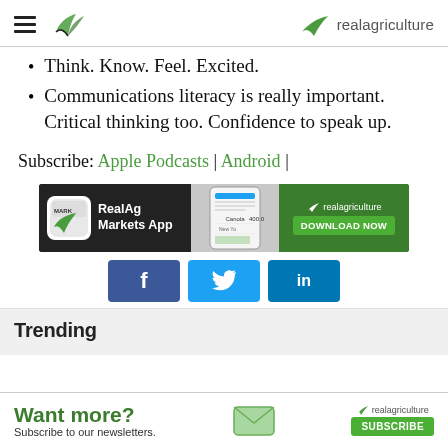realagriculture
Think. Know. Feel. Excited.
Communications literacy is really important. Critical thinking too. Confidence to speak up.
Subscribe: Apple Podcasts | Android |
[Figure (screenshot): RealAg Markets App advertisement banner with app icon, phone screenshot, and green DOWNLOAD NOW button]
[Figure (infographic): Social media share buttons: Facebook, Twitter, LinkedIn]
Trending
[Figure (infographic): Bottom advertisement: Want more? Subscribe to our newsletters. realagriculture SUBSCRIBE button with envelope icon]